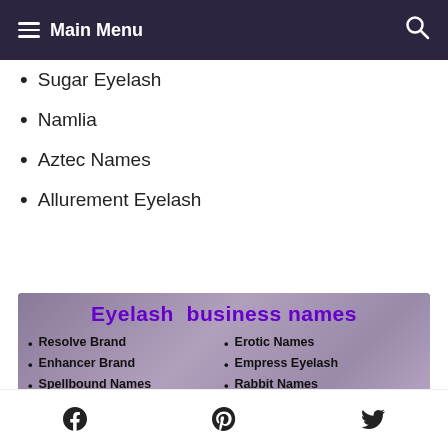Main Menu
Sugar Eyelash
Namlia
Aztec Names
Allurement Eyelash
[Figure (infographic): Eyelash business names infographic listing: Resolve Brand, Enhancer Brand, Spellbound Names, Excel Brand, Total Names, Radiate Eyelash, Erotic Names, Empress Eyelash, Rabbit Names, Grande Names, Aid Eyelash, Dominate Names]
Facebook, Pinterest, Twitter social icons